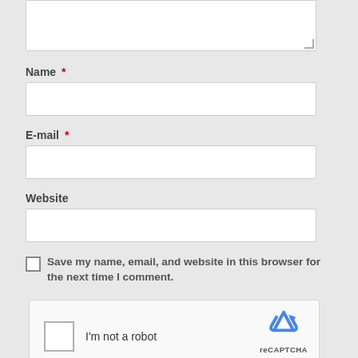[Figure (screenshot): Textarea input box (partial, top of page) with resize handle]
Name *
[Figure (screenshot): Name text input field]
E-mail *
[Figure (screenshot): E-mail text input field]
Website
[Figure (screenshot): Website text input field]
Save my name, email, and website in this browser for the next time I comment.
[Figure (screenshot): reCAPTCHA widget with checkbox and logo]